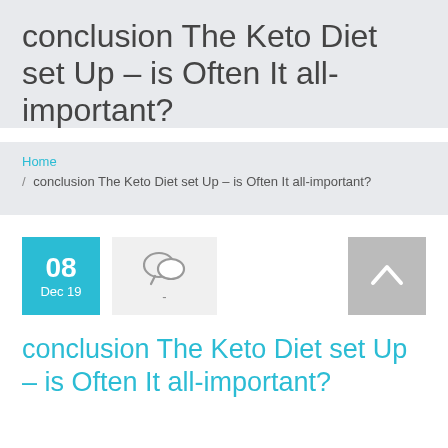conclusion The Keto Diet set Up – is Often It all-important?
Home / conclusion The Keto Diet set Up – is Often It all-important?
08 Dec 19
-
conclusion The Keto Diet set Up – is Often It all-important?